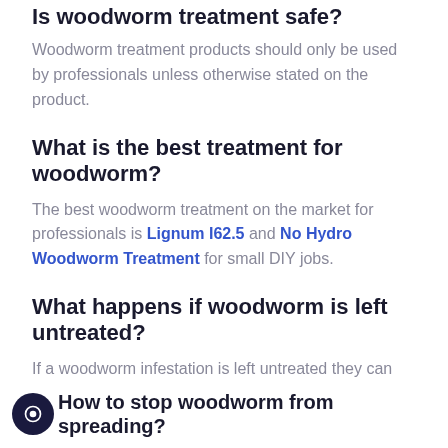Is woodworm treatment safe?
Woodworm treatment products should only be used by professionals unless otherwise stated on the product.
What is the best treatment for woodworm?
The best woodworm treatment on the market for professionals is Lignum I62.5 and No Hydro Woodworm Treatment for small DIY jobs.
What happens if woodworm is left untreated?
If a woodworm infestation is left untreated they can effect the structural integrity of timbers in buildings causing the risk of hazards.
How to stop woodworm from spreading?